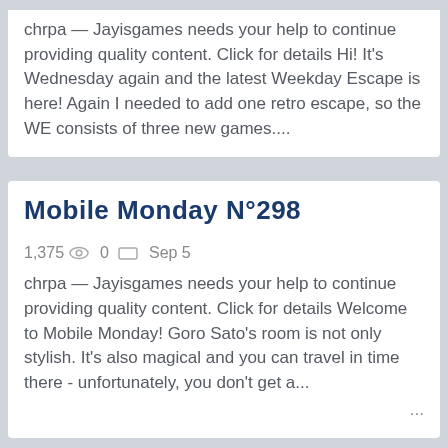chrpa — Jayisgames needs your help to continue providing quality content. Click for details Hi! It's Wednesday again and the latest Weekday Escape is here! Again I needed to add one retro escape, so the WE consists of three new games....
Mobile Monday N°298
1,375  0  Sep 5
chrpa — Jayisgames needs your help to continue providing quality content. Click for details Welcome to Mobile Monday! Goro Sato's room is not only stylish. It's also magical and you can travel in time there - unfortunately, you don't get a...
Sleepless